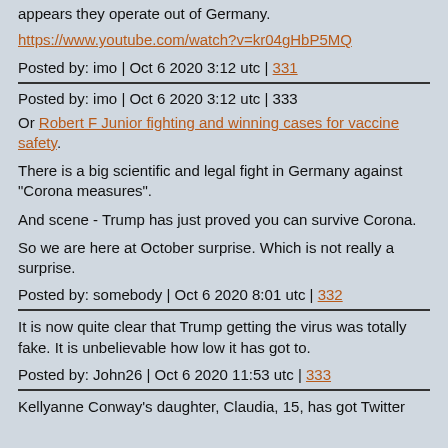appears they operate out of Germany.
https://www.youtube.com/watch?v=kr04gHbP5MQ
Posted by: imo | Oct 6 2020 3:12 utc | 331
Posted by: imo | Oct 6 2020 3:12 utc | 333
Or Robert F Junior fighting and winning cases for vaccine safety.
There is a big scientific and legal fight in Germany against "Corona measures".
And scene - Trump has just proved you can survive Corona.
So we are here at October surprise. Which is not really a surprise.
Posted by: somebody | Oct 6 2020 8:01 utc | 332
It is now quite clear that Trump getting the virus was totally fake. It is unbelievable how low it has got to.
Posted by: John26 | Oct 6 2020 11:53 utc | 333
Kellyanne Conway's daughter, Claudia, 15, has got Twitter